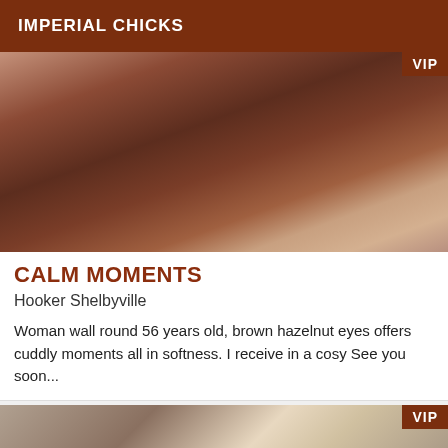IMPERIAL CHICKS
[Figure (photo): Close-up photo of a woman with brown curly hair and glasses, warm reddish-brown tones, VIP badge in top right corner]
CALM MOMENTS
Hooker Shelbyville
Woman wall round 56 years old, brown hazelnut eyes offers cuddly moments all in softness. I receive in a cosy See you soon...
[Figure (photo): Partial photo showing clothing/body, warm beige tones, VIP badge in top right corner]